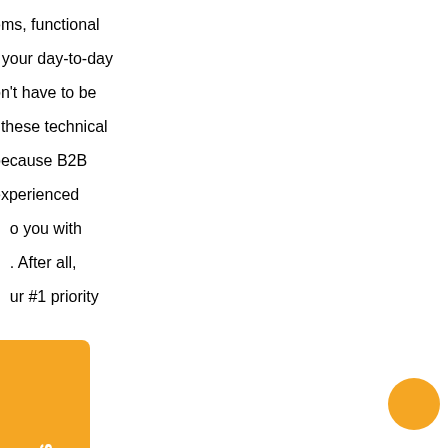ems, functional r your day-to-day on't have to be ; these technical because B2B experienced o you with . After all, ur #1 priority
uses in providing or small to sses in the Chicago ut also cater to chnical needs for n our tailored and